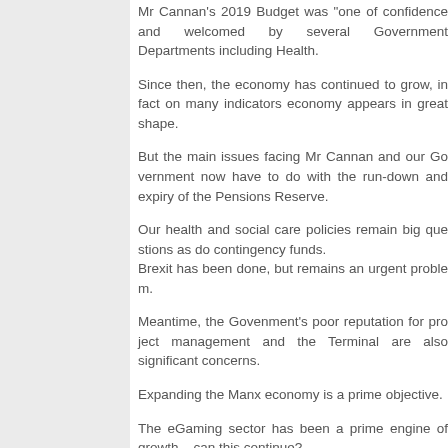Mr Cannan's 2019 Budget was "one of confidence" and was welcomed by several Government Departments including Health.
Since then, the economy has continued to grow, in fact on many indicators economy appears in great shape.
But the main issues facing Mr Cannan and our Government now have to do with the run-down and expiry of the Pensions Reserve.
Our health and social care policies remain big questions as do contingency funds.
Brexit has been done, but remains an urgent problem.
Meantime, the Govenment's poor reputation for project management and the Terminal are also significant concerns.
Expanding the Manx economy is a prime objective.
The eGaming sector has been a prime engine of growth – can this continue?
The VAT Agreement with the UK underpins the w… some of the questions, is Government any closer to…
Whilst public sector employees have the benefit of… no action to require the private sector to do the sa… "first class pensions" but "second class or no pensi…
Can we expect changes in financial policy to addre…
Each year the Budget Statement is expected with g… welcome Mr Cannan to share and discuss his thou…